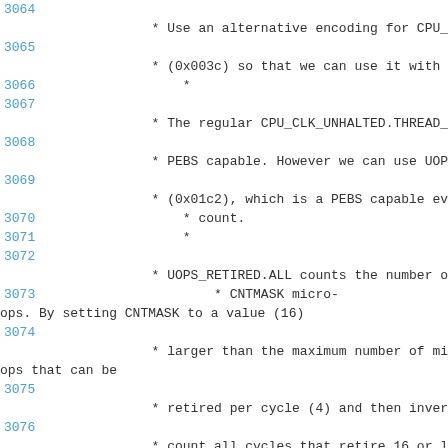3064
    * Use an alternative encoding for CPU_C
3065
    * (0x003c) so that we can use it with P
3066
        *
3067
3068
    * The regular CPU_CLK_UNHALTED.THREAD_P
3069
    * PEBS capable. However we can use UOPS
3070
    * (0x01c2), which is a PEBS capable eve
3071        * count.
        *
3072
    * UOPS_RETIRED.ALL counts the number of
3073        * CNTMASK micro-
ops. By setting CNTMASK to a value (16)
3074
    * larger than the maximum number of mic
ops that can be
3075
    * retired per cycle (4) and then invert
3076
    * count all cycles that retire 16 or le
ops. which